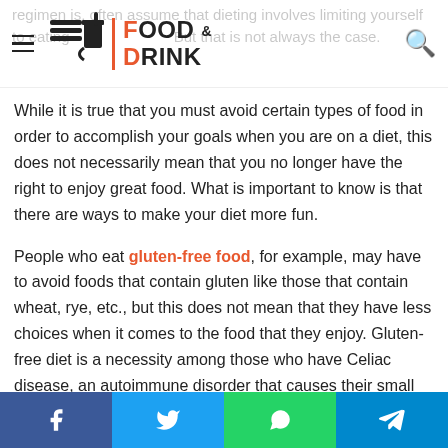FOOD & DRINK
regimen is, often assume that dieting involves limiting yourself to eating... But that is not always the case.
While it is true that you must avoid certain types of food in order to accomplish your goals when you are on a diet, this does not necessarily mean that you no longer have the right to enjoy great food. What is important to know is that there are ways to make your diet more fun.
People who eat gluten-free food, for example, may have to avoid foods that contain gluten like those that contain wheat, rye, etc., but this does not mean that they have less choices when it comes to the food that they enjoy. Gluten-free diet is a necessity among those who have Celiac disease, an autoimmune disorder that causes their small intestines to get damaged when they intake gluten.
Facebook Twitter WhatsApp Telegram